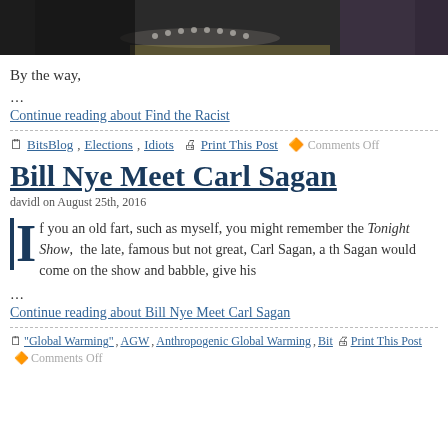[Figure (photo): Cropped top portion of a photo showing a person wearing a pearl necklace, partially visible from the shoulders up against a dark background]
By the way,
…
Continue reading about Find the Racist
BitsBlog, Elections, Idiots  Print This Post  Comments Off
Bill Nye Meet Carl Sagan
davidl on August 25th, 2016
If you an old fart, such as myself, you might remember the Tonight Show, the late, famous but not great, Carl Sagan, a th Sagan would come on the show and babble, give his
…
Continue reading about Bill Nye Meet Carl Sagan
"Global Warming", AGW, Anthropogenic Global Warming, Bit Print This Post  Comments Off